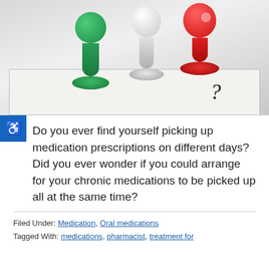[Figure (photo): Three pushpins (green, white, red) on a calendar background with a question mark visible in the lower right]
Do you ever find yourself picking up medication prescriptions on different days? Did you ever wonder if you could arrange for your chronic medications to be picked up all at the same time?
Filed Under: Medication, Oral medications
Tagged With: medications, pharmacist, treatment for